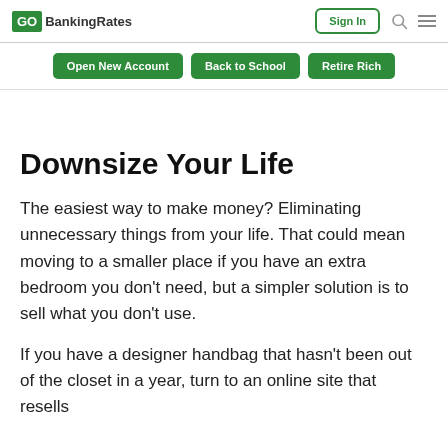GOBankingRates | Sign In
Open New Account | Back to School | Retire Rich
Downsize Your Life
The easiest way to make money? Eliminating unnecessary things from your life. That could mean moving to a smaller place if you have an extra bedroom you don't need, but a simpler solution is to sell what you don't use.
If you have a designer handbag that hasn't been out of the closet in a year, turn to an online site that resells